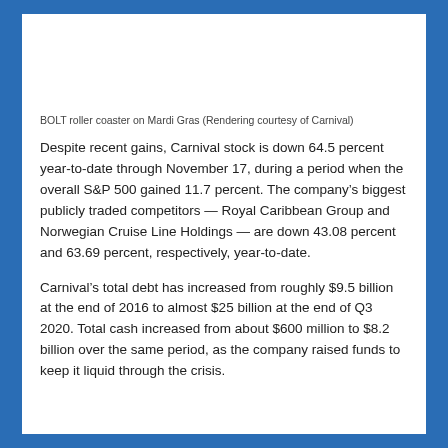BOLT roller coaster on Mardi Gras (Rendering courtesy of Carnival)
Despite recent gains, Carnival stock is down 64.5 percent year-to-date through November 17, during a period when the overall S&P 500 gained 11.7 percent. The company's biggest publicly traded competitors — Royal Caribbean Group and Norwegian Cruise Line Holdings — are down 43.08 percent and 63.69 percent, respectively, year-to-date.
Carnival's total debt has increased from roughly $9.5 billion at the end of 2016 to almost $25 billion at the end of Q3 2020. Total cash increased from about $600 million to $8.2 billion over the same period, as the company raised funds to keep it liquid through the crisis.